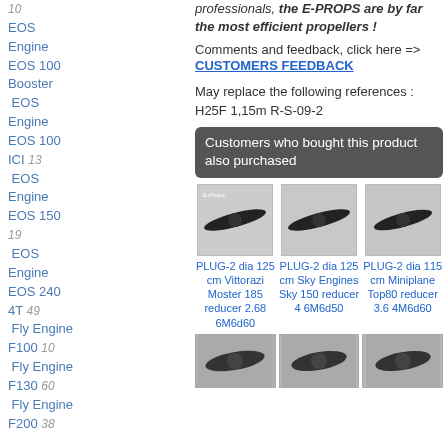10 EOS Engine EOS 100 Booster EOS Engine EOS 100 ICI 13
EOS Engine EOS 150 19
EOS Engine EOS 240 4T 49
Fly Engine F100 10
Fly Engine F130 60
Fly Engine F200 38
professionals, the E-PROPS are by far the most efficient propellers !
Comments and feedback, click here => CUSTOMERS FEEDBACK
May replace the following references : H25F 1,15m R-S-09-2
Customers who bought this product also purchased
[Figure (photo): E-Props PLUG-2 dia 125 cm Vittorazi Moster 185 reducer 2.68 6M6d60]
[Figure (photo): E-Props PLUG-2 dia 125 cm Sky Engines Sky 150 reducer 4 6M6d50]
[Figure (photo): E-Props PLUG-2 dia 115 cm Miniplane Top80 reducer 3.6 4M6d60]
PLUG-2 dia 125 cm Vittorazi Moster 185 reducer 2.68 6M6d60
PLUG-2 dia 125 cm Sky Engines Sky 150 reducer 4 6M6d50
PLUG-2 dia 115 cm Miniplane Top80 reducer 3.6 4M6d60